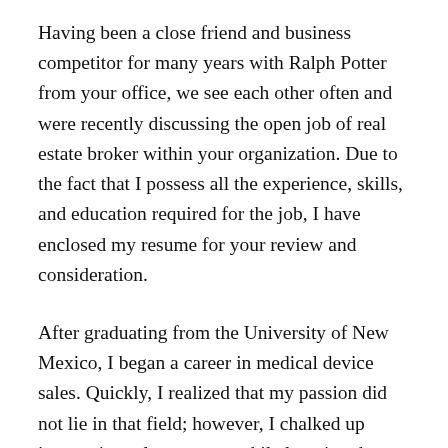Having been a close friend and business competitor for many years with Ralph Potter from your office, we see each other often and were recently discussing the open job of real estate broker within your organization. Due to the fact that I possess all the experience, skills, and education required for the job, I have enclosed my resume for your review and consideration.
After graduating from the University of New Mexico, I began a career in medical device sales. Quickly, I realized that my passion did not lie in that field; however, I chalked up impressive sales revenue while learning the overall art of product promotion. In the first two years, I increased sales by 23% and 28% respectively and generated over $1.2 million in